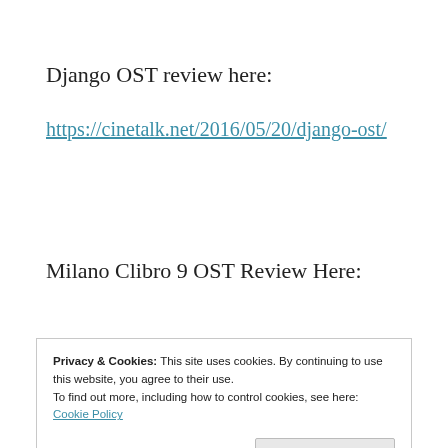Django OST review here:
https://cinetalk.net/2016/05/20/django-ost/
Milano Clibro 9 OST Review Here:
Privacy & Cookies: This site uses cookies. By continuing to use this website, you agree to their use.
To find out more, including how to control cookies, see here: Cookie Policy
Close and accept